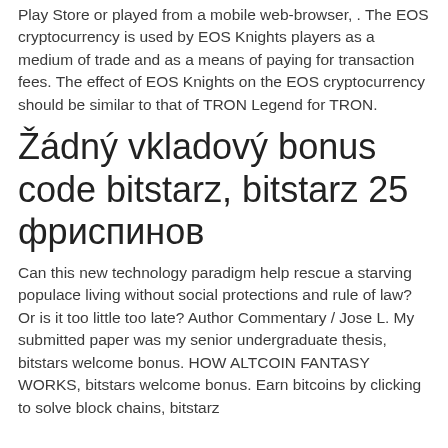Play Store or played from a mobile web-browser, . The EOS cryptocurrency is used by EOS Knights players as a medium of trade and as a means of paying for transaction fees. The effect of EOS Knights on the EOS cryptocurrency should be similar to that of TRON Legend for TRON.
Žádný vkladový bonus code bitstarz, bitstarz 25 фриспинов
Can this new technology paradigm help rescue a starving populace living without social protections and rule of law? Or is it too little too late? Author Commentary / Jose L. My submitted paper was my senior undergraduate thesis, bitstars welcome bonus. HOW ALTCOIN FANTASY WORKS, bitstars welcome bonus. Earn bitcoins by clicking to solve block chains, bitstarz